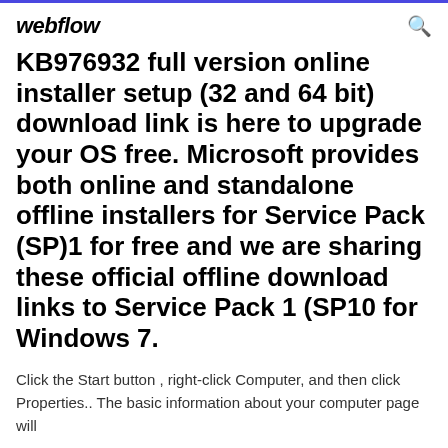webflow
KB976932 full version online installer setup (32 and 64 bit) download link is here to upgrade your OS free. Microsoft provides both online and standalone offline installers for Service Pack (SP)1 for free and we are sharing these official offline download links to Service Pack 1 (SP10 for Windows 7.
Click the Start button , right-click Computer, and then click Properties.. The basic information about your computer page will